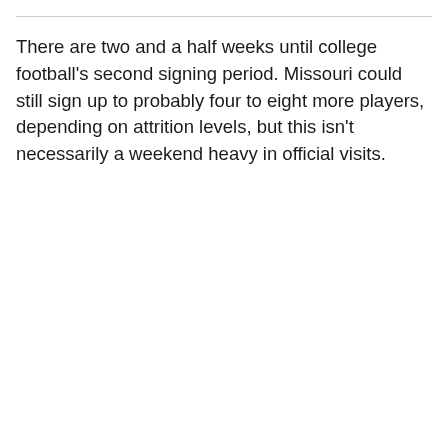There are two and a half weeks until college football's second signing period. Missouri could still sign up to probably four to eight more players, depending on attrition levels, but this isn't necessarily a weekend heavy in official visits.